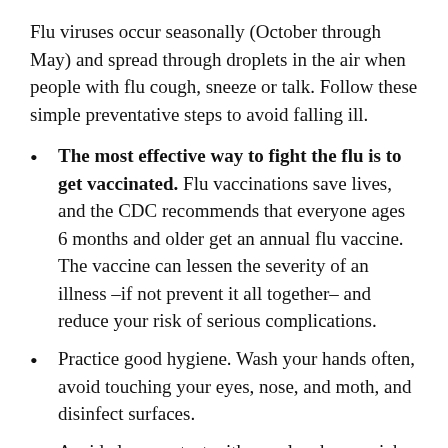Flu viruses occur seasonally (October through May) and spread through droplets in the air when people with flu cough, sneeze or talk. Follow these simple preventative steps to avoid falling ill.
The most effective way to fight the flu is to get vaccinated. Flu vaccinations save lives, and the CDC recommends that everyone ages 6 months and older get an annual flu vaccine. The vaccine can lessen the severity of an illness –if not prevent it all together– and reduce your risk of serious complications.
Practice good hygiene. Wash your hands often, avoid touching your eyes, nose, and moth, and disinfect surfaces.
Avoid close contact with people who are sick. While this step isn't always possible, it's worth